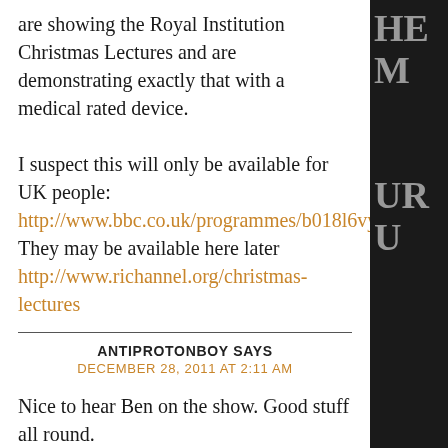are showing the Royal Institution Christmas Lectures and are demonstrating exactly that with a medical rated device.

I suspect this will only be available for UK people:
http://www.bbc.co.uk/programmes/b018l6vy
They may be available here later
http://www.richannel.org/christmas-lectures
ANTIPROTONBOY SAYS
DECEMBER 28, 2011 AT 2:11 AM
Nice to hear Ben on the show. Good stuff all round.